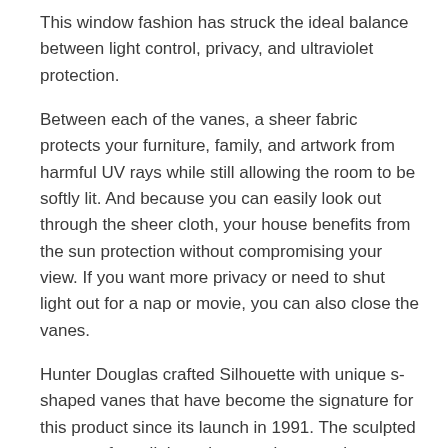This window fashion has struck the ideal balance between light control, privacy, and ultraviolet protection.
Between each of the vanes, a sheer fabric protects your furniture, family, and artwork from harmful UV rays while still allowing the room to be softly lit. And because you can easily look out through the sheer cloth, your house benefits from the sun protection without compromising your view. If you want more privacy or need to shut light out for a nap or movie, you can also close the vanes.
Hunter Douglas crafted Silhouette with unique s-shaped vanes that have become the signature for this product since its launch in 1991. The sculpted vanes softens light as it enters into your home. This prevents harsh direct rays and flares from damaging your furniture or fading your artwork.